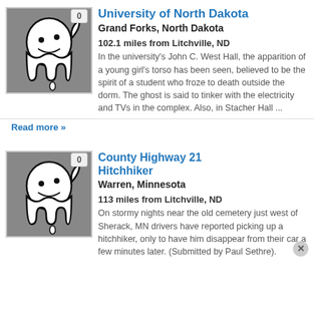[Figure (illustration): Ghost cartoon icon on grey background with badge showing 0]
University of North Dakota
Grand Forks, North Dakota
102.1 miles from Litchville, ND
In the university's John C. West Hall, the apparition of a young girl's torso has been seen, believed to be the spirit of a student who froze to death outside the dorm. The ghost is said to tinker with the electricity and TVs in the complex. Also, in Stacher Hall ...
Read more »
[Figure (illustration): Ghost cartoon icon on grey background with badge showing 0]
County Highway 21 Hitchhiker
Warren, Minnesota
113 miles from Litchville, ND
On stormy nights near the old cemetery just west of Sherack, MN drivers have reported picking up a hitchhiker, only to have him disappear from their car a few minutes later. (Submitted by Paul Sethre).